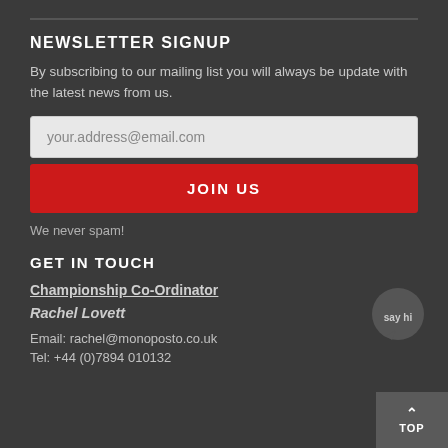NEWSLETTER SIGNUP
By subscribing to our mailing list you will always be update with the latest news from us.
[Figure (screenshot): Email input field with placeholder text 'your.address@email.com']
[Figure (screenshot): Red JOIN US button]
We never spam!
GET IN TOUCH
Championship Co-Ordinator
Rachel Lovett
Email: rachel@monoposto.co.uk
Tel: +44 (0)7894 010132